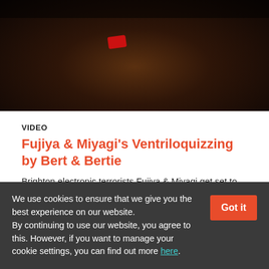[Figure (photo): Dark, moody close-up image with reddish-orange accent element, likely a still from a music video]
VIDEO
Fujiya & Miyagi's Ventriloquizzing by Bert & Bertie
Brighton electronic terrorists Fujiya & Miyagi get set to
We use cookies to ensure that we give you the best experience on our website. By continuing to use our website, you agree to this. However, if you want to manage your cookie settings, you can find out more here.